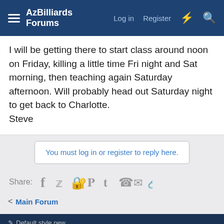AzBilliards Forums | Log in | Register
I will be getting there to start class around noon on Friday, killing a little time Fri night and Sat morning, then teaching again Saturday afternoon. Will probably head out Saturday night to get back to Charlotte.
Steve
You must log in or register to reply here.
Share:
< Main Forum
Default style new
Contact us | Terms and rules | Privacy policy | Help | Home
Community platform by XenForo® © 2010-2021 XenForo Ltd.
Website is using Ultimate News Ticker created by StylesFactory | Add-ons by ThemeHouse